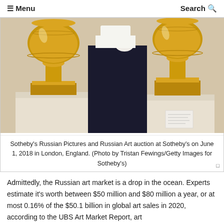☰ Menu   Search 🔍
[Figure (photo): A person in dark clothing wearing white gloves handles large gilded/golden decorative vases on white plinths at Sotheby's auction house.]
Sotheby's Russian Pictures and Russian Art auction at Sotheby's on June 1, 2018 in London, England. (Photo by Tristan Fewings/Getty Images for Sotheby's)
Admittedly, the Russian art market is a drop in the ocean. Experts estimate it's worth between $50 million and $80 million a year, or at most 0.16% of the $50.1 billion in global art sales in 2020, according to the UBS Art Market Report, art